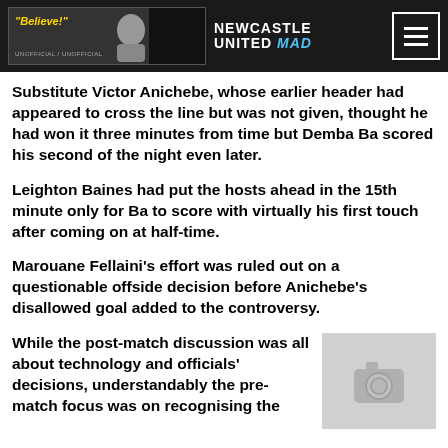Newcastle United MAD - "Believe!" Unofficial
Substitute Victor Anichebe, whose earlier header had appeared to cross the line but was not given, thought he had won it three minutes from time but Demba Ba scored his second of the night even later.
Leighton Baines had put the hosts ahead in the 15th minute only for Ba to score with virtually his first touch after coming on at half-time.
Marouane Fellaini's effort was ruled out on a questionable offside decision before Anichebe's disallowed goal added to the controversy.
While the post-match discussion was all about technology and officials' decisions, understandably the pre-match focus was on recognising the
[Figure (photo): Placeholder image with camera icon]